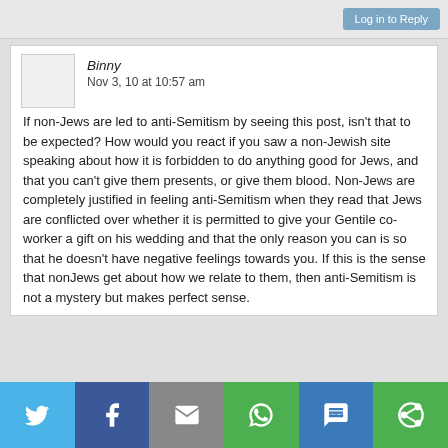Log in to Reply
Binny
Nov 3, 10 at 10:57 am
If non-Jews are led to anti-Semitism by seeing this post, isn't that to be expected? How would you react if you saw a non-Jewish site speaking about how it is forbidden to do anything good for Jews, and that you can't give them presents, or give them blood. Non-Jews are completely justified in feeling anti-Semitism when they read that Jews are conflicted over whether it is permitted to give your Gentile co-worker a gift on his wedding and that the only reason you can is so that he doesn't have negative feelings towards you. If this is the sense that nonJews get about how we relate to them, then anti-Semitism is not a mystery but makes perfect sense.
[Figure (infographic): Social sharing bar with Twitter, Facebook, Email, WhatsApp, SMS, and More buttons]